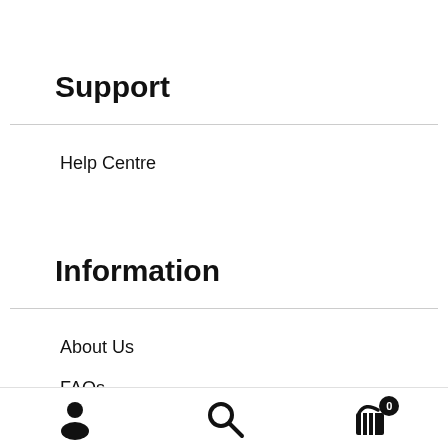Support
Help Centre
Information
About Us
FAQs